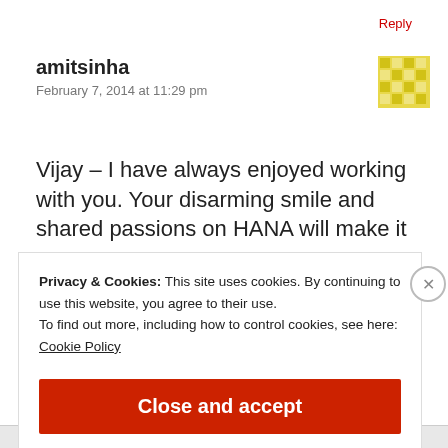Reply
amitsinha
February 7, 2014 at 11:29 pm
Vijay – I have always enjoyed working with you. Your disarming smile and shared passions on HANA will make it
Privacy & Cookies: This site uses cookies. By continuing to use this website, you agree to their use.
To find out more, including how to control cookies, see here:
Cookie Policy
Close and accept